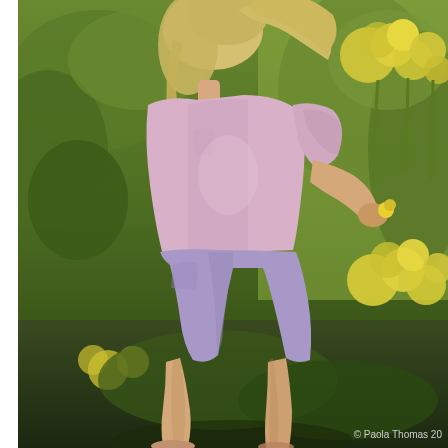[Figure (photo): A young blonde girl seen from the side, wearing a lavender/pink short-sleeve t-shirt and lavender shorts, standing in a garden among bright yellow flowers (yarrow), reaching out to touch the flowers. The background is filled with green foliage and yellow blooms in sunlight.]
© Paola Thomas 20